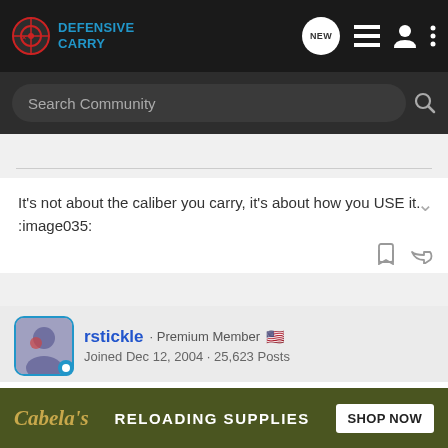Defensive Carry — navigation bar with logo, NEW, list, user, and menu icons
Search Community
It's not about the caliber you carry, it's about how you USE it. :image035:
rstickle · Premium Member 🇺🇸
Joined Dec 12, 2004 · 25,623 Posts
#14 · May 1, 2006
QKShooter said:
The or... out as Beta T...
[Figure (screenshot): Cabela's Reloading Supplies advertisement banner with SHOP NOW button]